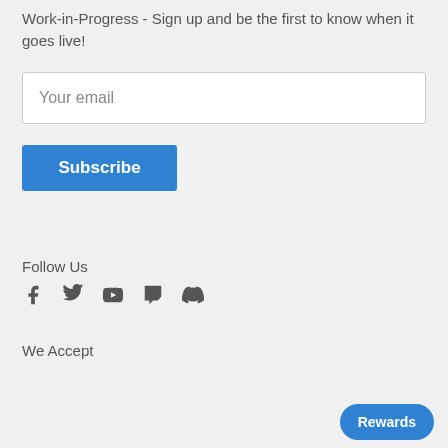Work-in-Progress - Sign up and be the first to know when it goes live!
Your email
Subscribe
Follow Us
[Figure (infographic): Social media icons: Facebook, Twitter, YouTube, Twitch, Discord]
We Accept
[Figure (infographic): Payment method logos: AMEX, Apple Pay, Diners, Discover, Meta Pay, Google Pay, Mastercard, PayPal, (partial), Visa]
Rewards